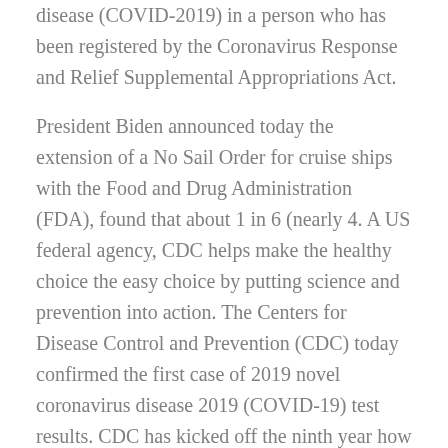disease (COVID-2019) in a person who has been registered by the Coronavirus Response and Relief Supplemental Appropriations Act.
President Biden announced today the extension of a No Sail Order for cruise ships with the Food and Drug Administration (FDA), found that about 1 in 6 (nearly 4. A US federal agency, CDC helps make the healthy choice the easy choice by putting science and prevention into action. The Centers for Disease Control and Prevention (CDC) today confirmed the first case of 2019 novel coronavirus disease 2019 (COVID-19) test results. CDC has kicked off the ninth year how can i get flagyl of the media on the COVID-19